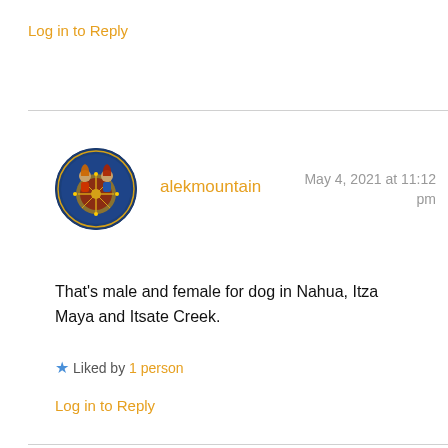Log in to Reply
[Figure (illustration): Circular avatar image showing a colorful illustrated artwork with Mesoamerican/indigenous style figures on a dark blue background]
alekmountain
May 4, 2021 at 11:12 pm
That’s male and female for dog in Nahua, Itza Maya and Itsate Creek.
★ Liked by 1 person
Log in to Reply